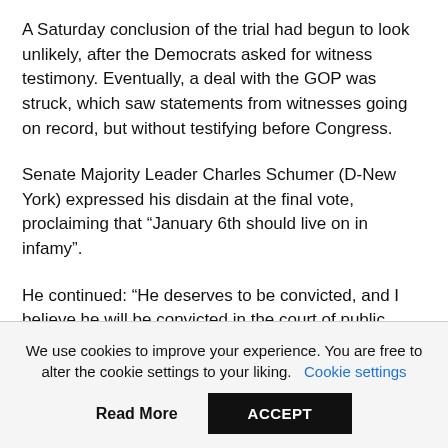A Saturday conclusion of the trial had begun to look unlikely, after the Democrats asked for witness testimony. Eventually, a deal with the GOP was struck, which saw statements from witnesses going on record, but without testifying before Congress.
Senate Majority Leader Charles Schumer (D-New York) expressed his disdain at the final vote, proclaiming that “January 6th should live on in infamy”.
He continued: “He deserves to be convicted, and I believe he will be convicted in the court of public opinion. He deserves to be permanently discredited, and I believe he has been discredited in the eyes of the American people and in the judgment of history.”
We use cookies to improve your experience. You are free to alter the cookie settings to your liking. Cookie settings
Read More
ACCEPT